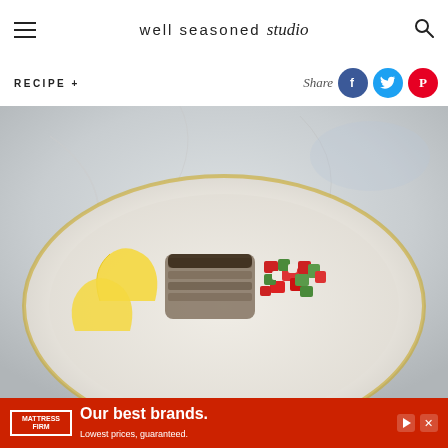well seasoned studio
RECIPE +
Share
[Figure (photo): Overhead view of a white plate with grilled fish, colorful diced vegetable salsa (red peppers, green cucumber, onion), and lemon wedges on a light marble/stone background]
[Figure (other): Mattress Firm advertisement banner: 'Our best brands. Lowest prices, guaranteed.']